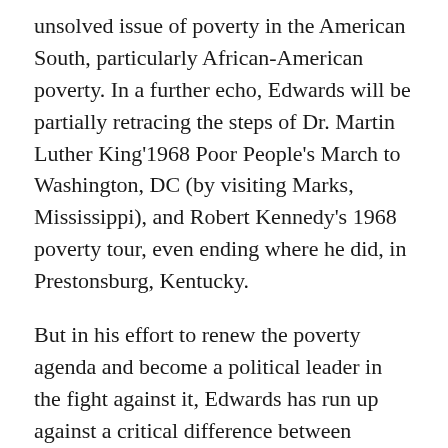unsolved issue of poverty in the American South, particularly African-American poverty. In a further echo, Edwards will be partially retracing the steps of Dr. Martin Luther King'1968 Poor People's March to Washington, DC (by visiting Marks, Mississippi), and Robert Kennedy's 1968 poverty tour, even ending where he did, in Prestonsburg, Kentucky.
But in his effort to renew the poverty agenda and become a political leader in the fight against it, Edwards has run up against a critical difference between Kennedy's era and our own: Kennedy's travels took place at a time of white male electoral exclusivity and came on the heels of more than a decade of agitation by a daring, outsider-driven civil rights movement.